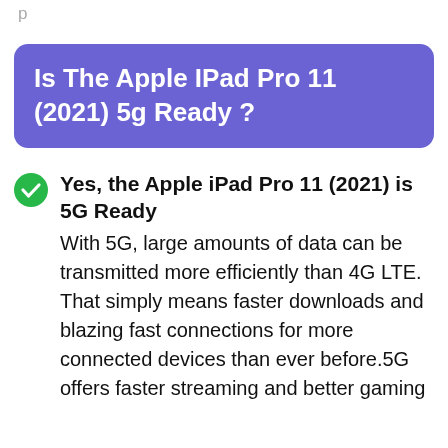p
Is The Apple IPad Pro 11 (2021) 5g Ready ?
Yes, the Apple iPad Pro 11 (2021) is 5G Ready
With 5G, large amounts of data can be transmitted more efficiently than 4G LTE. That simply means faster downloads and blazing fast connections for more connected devices than ever before.5G offers faster streaming and better gaming